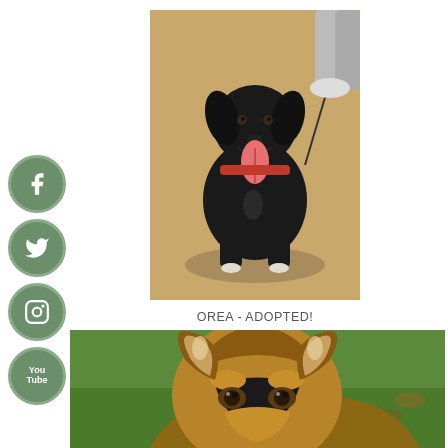[Figure (photo): Black fluffy dog sitting outdoors on sandy ground, mouth open with tongue out, wearing a red collar/harness, on a leash held by a person behind, sunny day]
OREA - ADOPTED!
[Figure (photo): Close-up portrait of a German Shepherd dog with large ears, tan and black coloring, looking directly at camera, grass background]
[Figure (logo): Facebook social media icon - white F on green circular button]
[Figure (logo): Twitter social media icon - white bird on green circular button]
[Figure (logo): Instagram social media icon - white camera on green circular button]
[Figure (logo): YouTube social media icon - white YouTube text on green circular button]